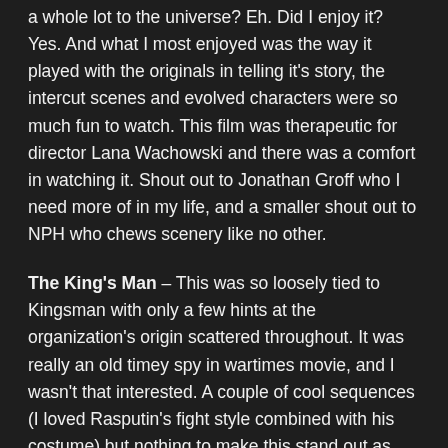a whole lot to the universe? Eh. Did I enjoy it? Yes. And what I most enjoyed was the way it played with the originals in telling it's story, the intercut scenes and evolved characters were so much fun to watch. This film was therapeutic for director Lana Wachowski and there was a comfort in watching it. Shout out to Jonathan Groff who I need more of in my life, and a smaller shout out to NPH who chews scenery like no other.
The King's Man – This was so loosely tied to Kingsman with only a few hints at the organization's origin scattered throughout. It was really an old timey spy in wartimes movie, and I wasn't that interested. A couple of cool sequences (I loved Rasputin's fight style combined with his costume) but nothing to make this stand out as memorable. Diminishing returns those Kingsmen have been, which is a pity.